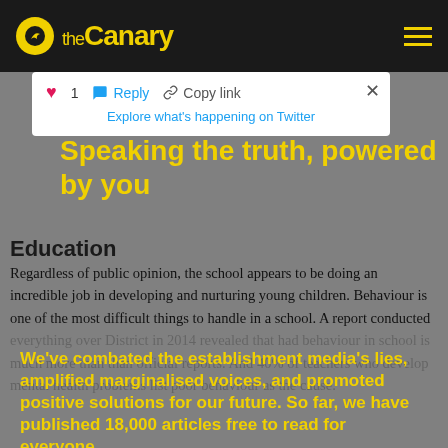theCanary
[Figure (screenshot): Twitter popup with heart (1), Reply, Copy link actions and 'Explore what's happening on Twitter' link]
Speaking the truth, powered by you
Education
Regardless of public opinion, the school appears to be doing an incredible job in developing and nurturing young children. Behaviour is one of the most difficult things to handle in a school. A report conducted everything over District in 2014 revealed that had behaviour in school is much more than than official reports. And 40% of teachers who develop mental health problems list poor behaviour as the cause.
We've combated the establishment media's lies, amplified marginalised voices, and promoted positive solutions for our future. So far, we have published 18,000 articles free to read for everyone.

But we depend on you for everything we do. Together, with your support, we can continue to be a beacon of truth and hope.
Likewise, due to excessive cuts, many schools across the country have been forced to increase their class sizes. In many cases, there is a teacher to pupil ratio of 35 pupils or